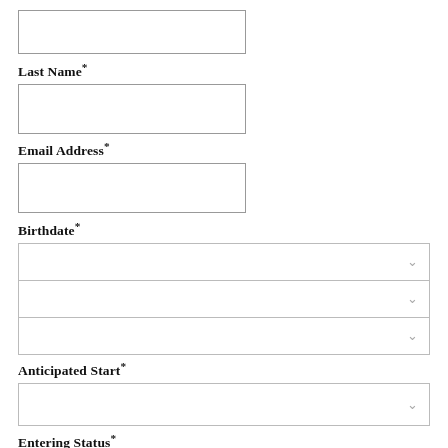[Figure (other): Empty text input field (top of page, partially visible)]
Last Name*
[Figure (other): Empty text input field for Last Name]
Email Address*
[Figure (other): Empty text input field for Email Address]
Birthdate*
[Figure (other): Three dropdown select fields for Birthdate (month, day, year)]
Anticipated Start*
[Figure (other): Dropdown select field for Anticipated Start]
Entering Status*